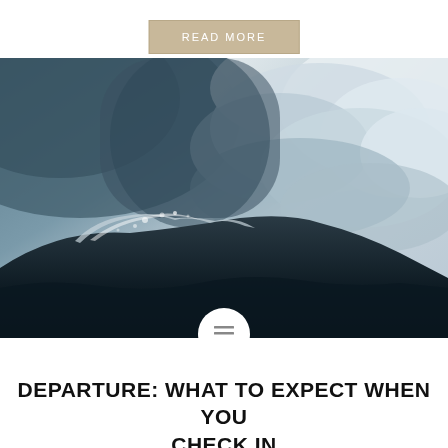READ MORE
[Figure (photo): Dramatic dark ocean wave rising against a stormy blue-grey sky with heavy clouds]
DEPARTURE: WHAT TO EXPECT WHEN YOU CHECK IN